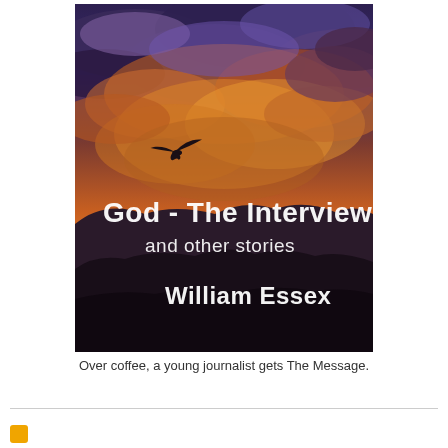[Figure (illustration): Book cover for 'God - The Interview and other stories' by William Essex. A dramatic sunset sky with orange and purple clouds, a bird silhouette in flight, and dark mountain silhouettes at the bottom. White text overlay shows the title and author name.]
Over coffee, a young journalist gets The Message.